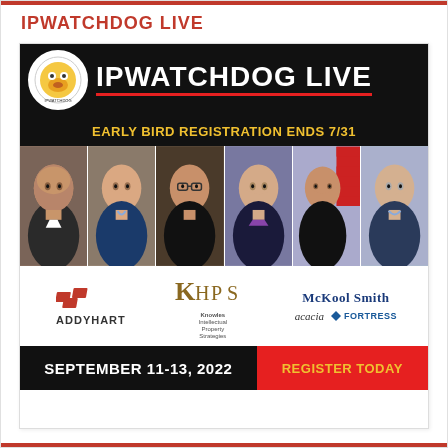IPWATCHDOG LIVE
[Figure (infographic): IPWatchdog Live event promotional banner. Black background with white IPWatchdog logo circle, large white text IPWATCHDOG LIVE, red horizontal line, yellow text EARLY BIRD REGISTRATION ENDS 7/31. Below: six speaker headshot photos in a row. Sponsor logos: AddyHart, KIPS (Knowles Intellectual Property Strategies), McKool Smith, acacia, Fortress. Bottom bar: black section with white text SEPTEMBER 11-13, 2022 and red section with yellow text REGISTER TODAY.]